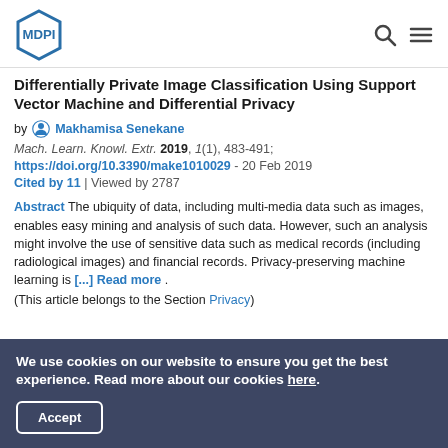MDPI
Differentially Private Image Classification Using Support Vector Machine and Differential Privacy
by Makhamisa Senekane
Mach. Learn. Knowl. Extr. 2019, 1(1), 483-491; https://doi.org/10.3390/make1010029 - 20 Feb 2019
Cited by 11 | Viewed by 2787
Abstract The ubiquity of data, including multi-media data such as images, enables easy mining and analysis of such data. However, such an analysis might involve the use of sensitive data such as medical records (including radiological images) and financial records. Privacy-preserving machine learning is [...] Read more. (This article belongs to the Section Privacy)
We use cookies on our website to ensure you get the best experience. Read more about our cookies here.